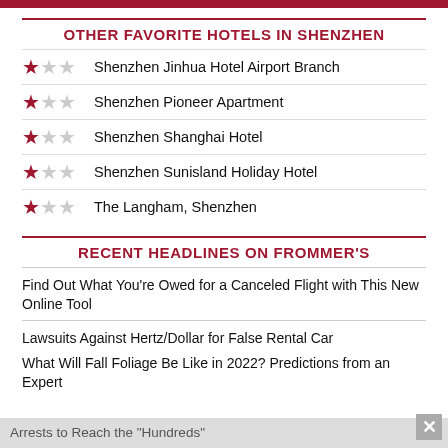OTHER FAVORITE HOTELS IN SHENZHEN
Shenzhen Jinhua Hotel Airport Branch — 1 star
Shenzhen Pioneer Apartment — 1 star
Shenzhen Shanghai Hotel — 1 star
Shenzhen Sunisland Holiday Hotel — 1 star
The Langham, Shenzhen — 1 star
RECENT HEADLINES ON FROMMER'S
Find Out What You're Owed for a Canceled Flight with This New Online Tool
Lawsuits Against Hertz/Dollar for False Rental Car Arrests to Reach the "Hundreds"
What Will Fall Foliage Be Like in 2022? Predictions from an Expert